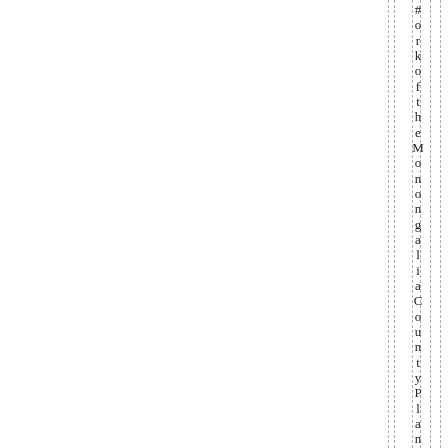#orkoftheMonongaliaCountyPlanni